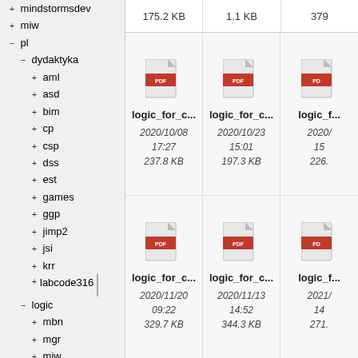+ mindstormsdev
+ miw
- pl
- dydaktyka
+ aml
+ asd
+ bim
+ cp
+ csp
+ dss
+ est
+ games
+ ggp
+ jimp2
+ jsi
+ krr
+ labcode316
- logic
+ mbn
+ mgr
+ miw
+ ml
| File | File | File |
| --- | --- | --- |
| 175.2 KB | 1.1 KB | 379 |
| logic_for_c...
2020/10/08 17:27
237.8 KB | logic_for_c...
2020/10/23 15:01
197.3 KB | logic_f...
2020/
226. |
| logic_for_c...
2020/11/20 09:22
329.7 KB | logic_for_c...
2020/11/13 14:52
344.3 KB | logic_f...
2021/
271. |